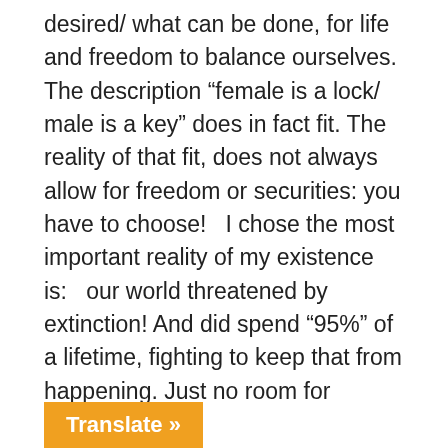desired/ what can be done, for life and freedom to balance ourselves. The description “female is a lock/ male is a key” does in fact fit. The reality of that fit, does not always allow for freedom or securities: you have to choose!   I chose the most important reality of my existence is:   our world threatened by extinction! And did spend “95%” of a lifetime, fighting to keep that from happening. Just no room for anything else.

I assumed when I was young, that short term, romantic encounters could exist. I was wrong, when women find what they want, they won’t let go;        which brings a flood of tears. Which means instead of searching for someone who could stay, they are spending time with       ny case of I knew I would not stay. That
Translate »